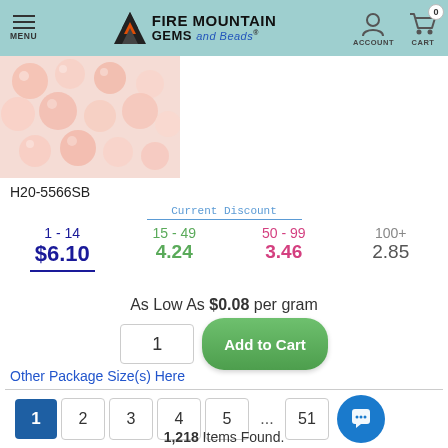Fire Mountain Gems and Beads — MENU | ACCOUNT | CART 0
[Figure (photo): Pink/peach semi-transparent round beads scattered on white background]
H20-5566SB
| Current Discount |  |  |  |
| --- | --- | --- | --- |
| 1 - 14 | 15 - 49 | 50 - 99 | 100+ |
| $6.10 | 4.24 | 3.46 | 2.85 |
As Low As $0.08 per gram
Other Package Size(s) Here
1  2  3  4  5  ...  51
1,218 Items Found.